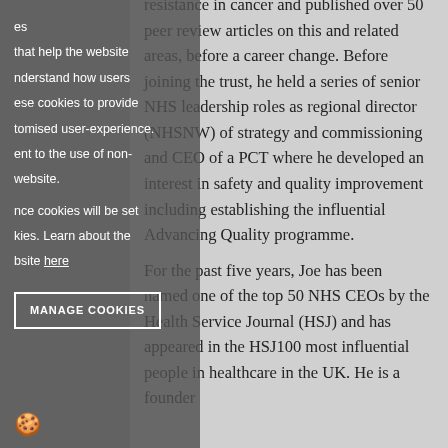resistance in cancer and published over 50 peer review articles on this and related areas, before a career change. Before joining the trust, he held a series of senior NHS leadership roles as regional director (NHSNW) of strategy and commissioning and CEO of a PCT where he developed an interest in safety and quality improvement including establishing the influential Advancing Quality programme.

For the past five years, Joe has been named one of the top 50 NHS CEOs by the Health Service Journal (HSJ) and has appeared in the HSJ100 most influential people in healthcare in the UK. He is a founder
es

that help the website trust, he held a series of senior
nderstand how users
ese cookies to provide NHS leadership roles as regional director
tomised user-experience.
ent to the use of non-
website.

nce cookies will be set
kies. Learn about the
bsite here
MANAGE COOKIES